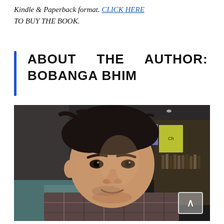Kindle & Paperback format. CLICK HERE TO BUY THE BOOK.
ABOUT THE AUTHOR: BOBANGA BHIM
[Figure (photo): Portrait photo of author Bobanga Bhim, a young South Asian man with dark hair, smiling slightly, seated in what appears to be a café or restaurant setting. A scroll-to-top button overlay is visible in the bottom-right corner of the image.]